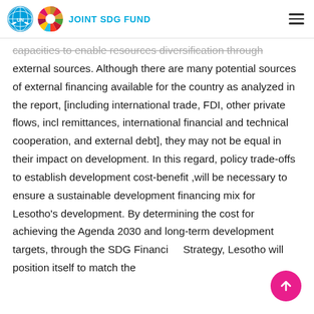JOINT SDG FUND
capacities to enable resources diversification through external sources. Although there are many potential sources of external financing available for the country as analyzed in the report, [including international trade, FDI, other private flows, incl remittances, international financial and technical cooperation, and external debt], they may not be equal in their impact on development. In this regard, policy trade-offs to establish development cost-benefit ,will be necessary to ensure a sustainable development financing mix for Lesotho's development. By determining the cost for achieving the Agenda 2030 and long-term development targets, through the SDG Financing Strategy, Lesotho will position itself to match the